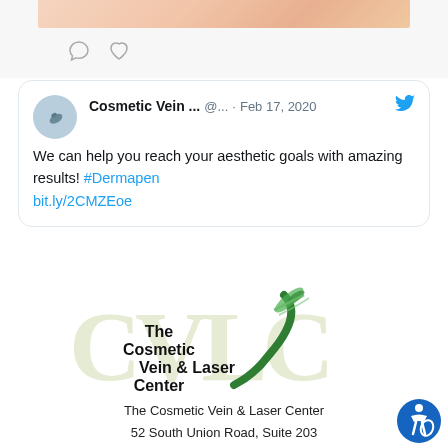[Figure (screenshot): Partial view of a tweet image showing skin/arms, with comment and heart icons below]
[Figure (screenshot): Tweet from Cosmetic Vein ... @... Feb 17, 2020 with Twitter bird icon. Text: We can help you reach your aesthetic goals with amazing results! #Dermapen bit.ly/2CMZEoe]
[Figure (logo): The Cosmetic Vein & Laser Center logo with CVLC letters in light olive and a green checkmark/swoosh]
The Cosmetic Vein & Laser Center
52 South Union Road, Suite 203
Williamsville NY 14221
Phone: (716) 632-5200
716-300-6448